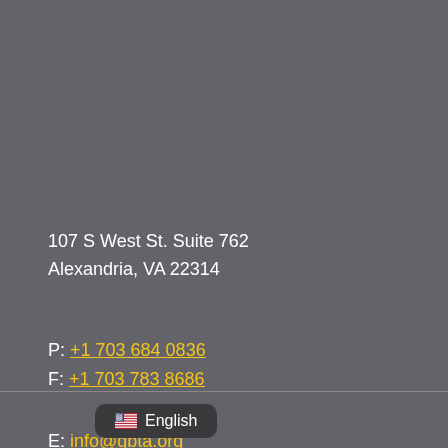107 S West St. Suite 762
Alexandria, VA 22314
P: +1 703 684 0836
F: +1 703 783 8686
E: info@gbta.org
[Figure (infographic): Row of 5 social media icons in yellow: Instagram, LinkedIn, YouTube, Twitter, Facebook]
English